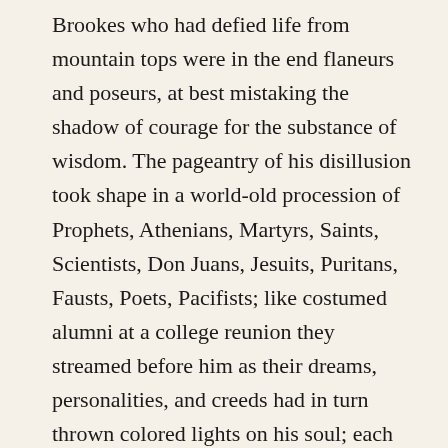Brookes who had defied life from mountain tops were in the end flaneurs and poseurs, at best mistaking the shadow of courage for the substance of wisdom. The pageantry of his disillusion took shape in a world-old procession of Prophets, Athenians, Martyrs, Saints, Scientists, Don Juans, Jesuits, Puritans, Fausts, Poets, Pacifists; like costumed alumni at a college reunion they streamed before him as their dreams, personalities, and creeds had in turn thrown colored lights on his soul; each had tried to express the glory of life and the tremendous significance of man; each had boasted of synchronizing before what had gone before into his own rickety generalities; each had depended after all on the act steps and the